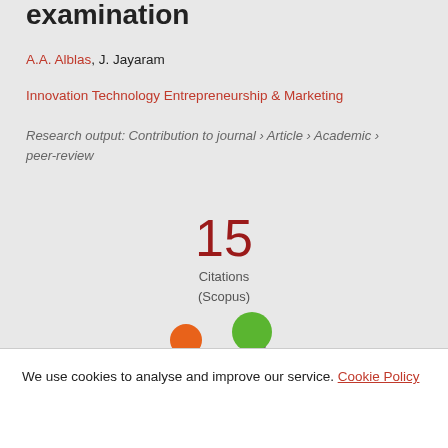examination
A.A. Alblas, J. Jayaram
Innovation Technology Entrepreneurship & Marketing
Research output: Contribution to journal › Article › Academic › peer-review
15
Citations
(Scopus)
[Figure (logo): Colorful Altmetric-style logo with orange, green, and purple circles arranged in a flower/cluster pattern]
We use cookies to analyse and improve our service. Cookie Policy